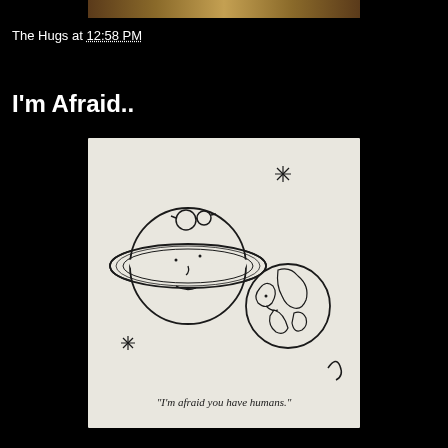[Figure (photo): Cropped top portion of an image showing warm toned content on black background]
The Hugs at 12:58 PM
I'm Afraid..
[Figure (illustration): Black and white cartoon illustration of Saturn (with face and glasses) talking to Earth (with face), with stars in background, caption reads: 'I'm afraid you have humans.']